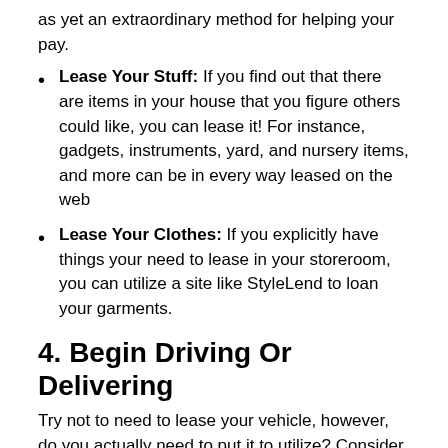as yet an extraordinary method for helping your pay.
Lease Your Stuff: If you find out that there are items in your house that you figure others could like, you can lease it! For instance, gadgets, instruments, yard, and nursery items, and more can be in every way leased on the web
Lease Your Clothes: If you explicitly have things your need to lease in your storeroom, you can utilize a site like StyleLend to loan your garments.
4. Begin Driving Or Delivering
Try not to need to lease your vehicle, however, do you actually need to put it to utilize? Consider driving for Lyft to make that mysterious $833 each month. It's quite simple to get everything rolling with Lyft – you simply should be 21 or more established, have a 4 entryway vehicle, and have a substantial driver's permit. There might be more unambiguous